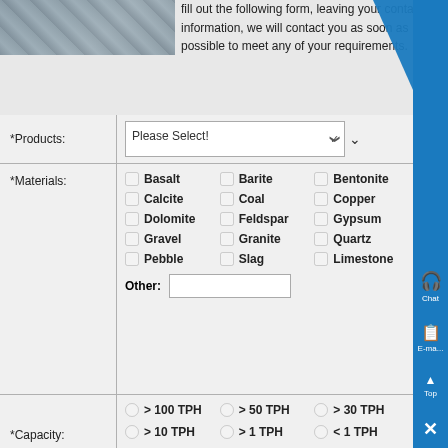[Figure (photo): Photo of industrial machinery/equipment in a warehouse setting, partially visible at top-left]
fill out the following form, leaving your contact information, we will contact you as soon as possible to meet any of your requirements.
| *Products: | Please Select! (dropdown) |
| *Materials: | Basalt, Barite, Bentonite, Calcite, Coal, Copper, Dolomite, Feldspar, Gypsum, Gravel, Granite, Quartz, Pebble, Slag, Limestone, Other: (text input) |
| *Capacity: | > 100 TPH, > 50 TPH, > 30 TPH, > 10 TPH, > 1 TPH, < 1 TPH |
| *Name: | Such as: John |
| *Email: | Such as: price@pejaw.com |